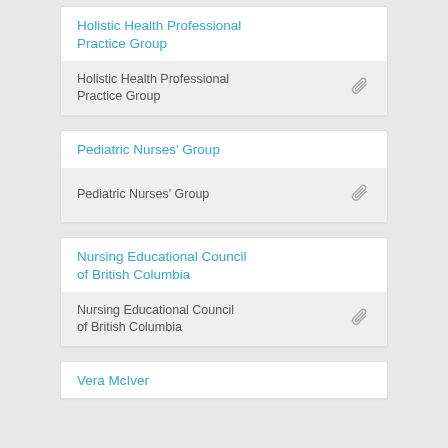Holistic Health Professional Practice Group
Holistic Health Professional Practice Group
Pediatric Nurses' Group
Pediatric Nurses' Group
Nursing Educational Council of British Columbia
Nursing Educational Council of British Columbia
Vera McIver